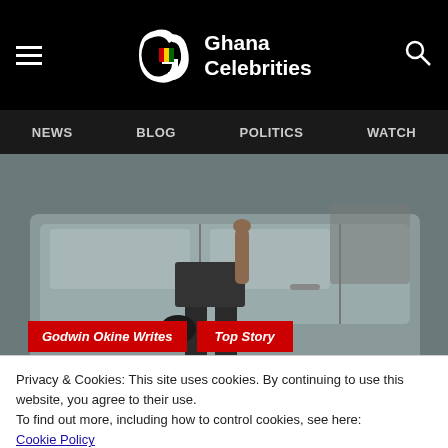Ghana Celebrities
NEWS  BLOG  POLITICS  WATCH
[Figure (photo): A person standing by a vehicle, partial view from waist down wearing a dark skirt, holding a bag]
Godwin Okine Writes
Top Story
WHY KENNEDY AGYAPONG IS
Privacy & Cookies: This site uses cookies. By continuing to use this website, you agree to their use.
To find out more, including how to control cookies, see here: Cookie Policy
Close and Accept
GODWIN OKINE WRITES